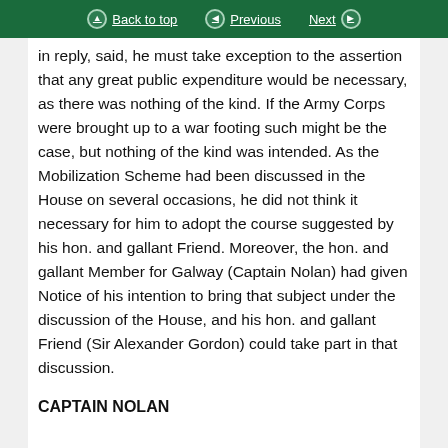Back to top | Previous | Next
in reply, said, he must take exception to the assertion that any great public expenditure would be necessary, as there was nothing of the kind. If the Army Corps were brought up to a war footing such might be the case, but nothing of the kind was intended. As the Mobilization Scheme had been discussed in the House on several occasions, he did not think it necessary for him to adopt the course suggested by his hon. and gallant Friend. Moreover, the hon. and gallant Member for Galway (Captain Nolan) had given Notice of his intention to bring that subject under the discussion of the House, and his hon. and gallant Friend (Sir Alexander Gordon) could take part in that discussion.
CAPTAIN NOLAN